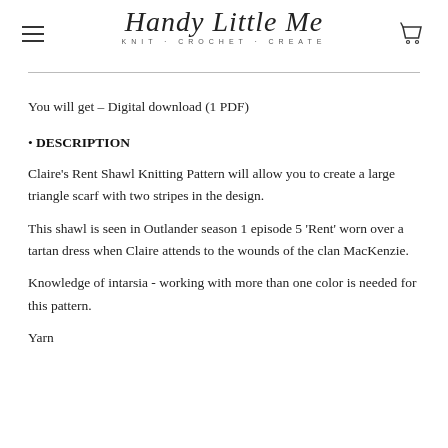Handy Little Me — KNIT · CROCHET · CREATE
You will get – Digital download (1 PDF)
• DESCRIPTION
Claire's Rent Shawl Knitting Pattern will allow you to create a large triangle scarf with two stripes in the design.
This shawl is seen in Outlander season 1 episode 5 'Rent' worn over a tartan dress when Claire attends to the wounds of the clan MacKenzie.
Knowledge of intarsia - working with more than one color is needed for this pattern.
Yarn